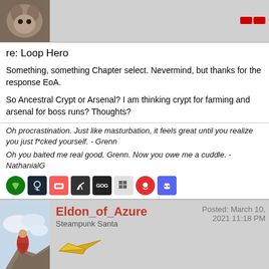[Figure (illustration): Forum post avatar - animal/cat image top left, with empty header area to the right showing a red report icon]
re: Loop Hero
Something, something Chapter select. Nevermind, but thanks for the response EoA.
So Ancestral Crypt or Arsenal? I am thinking crypt for farming and arsenal for boss runs? Thoughts?
Oh procrastination. Just like masturbation, it feels great until you realize you just f*cked yourself. - Grenn
Oh you baited me real good, Grenn. Now you owe me a cuddle. - NathanialG
[Figure (illustration): Row of social media icons: Xbox, Steam, itch.io, bird icon, GOG, Goodreads, podcast, Discord]
[Figure (illustration): Second forum post header: avatar showing figure in red cloak on cliff, username Eldon_of_Azure in red, rank Steampunk Santa, date Posted: March 10, 2021 11:18 PM, paper airplane badge]
Resource gathering is much easier in the second and third phases with the trade-off being stronger creatures and a bunch more tiles needed to spawn each boss. I think that some resources are just not available in the first phase too.
I'm stuck at the moment because I'm missing a resource I have no idea how to get. I don't even know what it's called because hovering over it doesn't tell